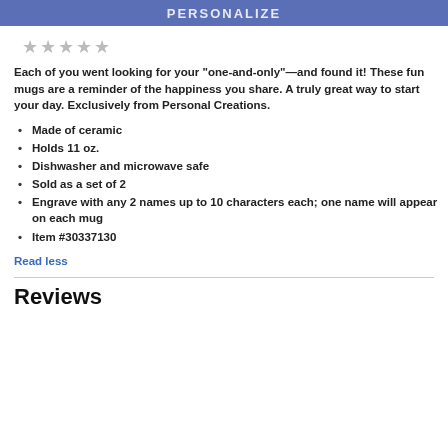PERSONALIZE
★★★★★
Each of you went looking for your "one-and-only"—and found it! These fun mugs are a reminder of the happiness you share. A truly great way to start your day. Exclusively from Personal Creations.
Made of ceramic
Holds 11 oz.
Dishwasher and microwave safe
Sold as a set of 2
Engrave with any 2 names up to 10 characters each; one name will appear on each mug
Item #30337130
Read less
Reviews